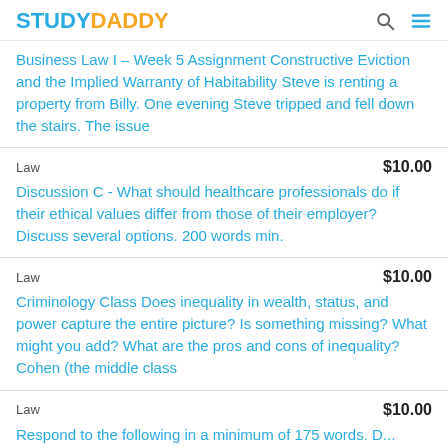STUDYDADDY
Business Law I – Week 5 Assignment Constructive Eviction and the Implied Warranty of Habitability Steve is renting a property from Billy. One evening Steve tripped and fell down the stairs. The issue
Law  $10.00
Discussion C - What should healthcare professionals do if their ethical values differ from those of their employer? Discuss several options. 200 words min.
Law  $10.00
Criminology Class Does inequality in wealth, status, and power capture the entire picture? Is something missing? What might you add? What are the pros and cons of inequality? Cohen (the middle class
Law  $10.00
Respond to the following in a minimum of 175 words. D...